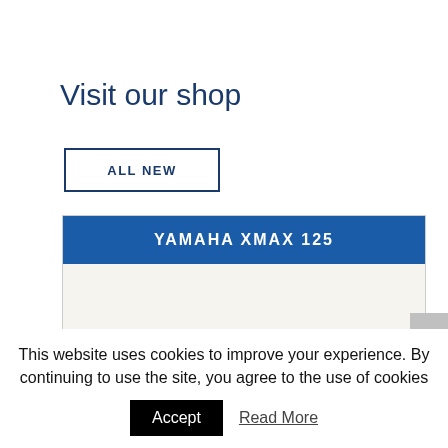Visit our shop
ALL NEW
YAMAHA XMAX 125
This website uses cookies to improve your experience. By continuing to use the site, you agree to the use of cookies
Accept
Read More